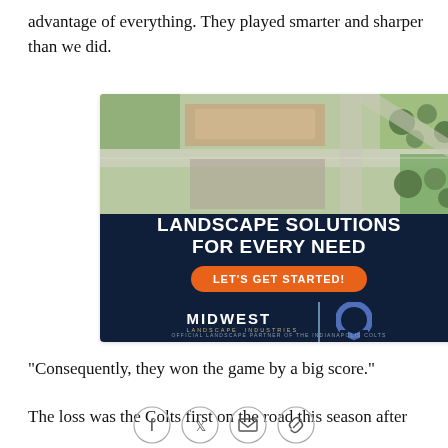advantage of everything. They played smarter and sharper than we did.
[Figure (illustration): Advertisement for Midwest Landscape Industries showing aerial view of landscaped property on top, dark navy background below with text 'LANDSCAPE SOLUTIONS FOR EVERY NEED', orange button 'LET'S GET STARTED!', Midwest Landscape Industries logo with Indianapolis Colts horseshoe logo, and text 'OFFICIAL LANDSCAPE PARTNER OF THE INDIANAPOLIS COLTS']
"Consequently, they won the game by a big score."
The loss was the Colts first on the road this season after
[Figure (infographic): Social sharing icons: Facebook, Twitter, Email, Link]